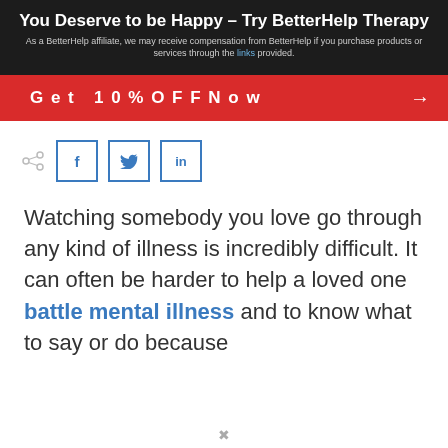You Deserve to be Happy – Try BetterHelp Therapy
As a BetterHelp affiliate, we may receive compensation from BetterHelp if you purchase products or services through the links provided.
Get 10% OFF Now →
[Figure (infographic): Share buttons: share icon, Facebook (f), Twitter (bird icon), LinkedIn (in)]
Watching somebody you love go through any kind of illness is incredibly difficult. It can often be harder to help a loved one battle mental illness and to know what to say or do because